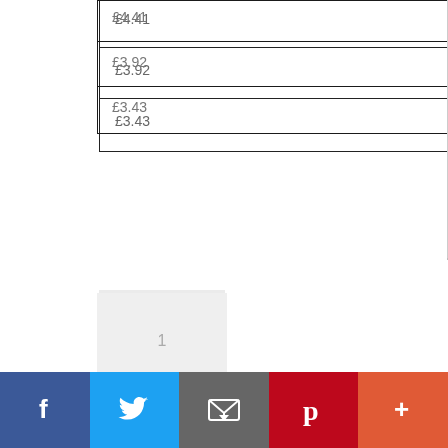| £4.41 |
| £3.92 |
| £3.43 |
1
Buy now
— OR —
Add to cart